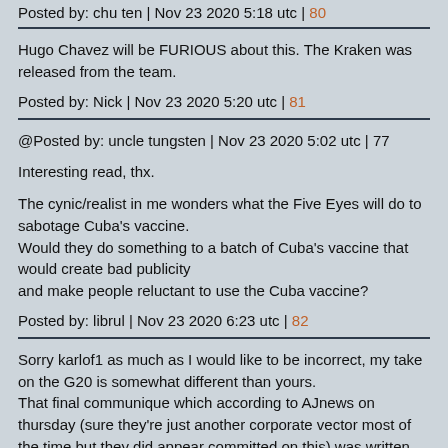Posted by: chu ten | Nov 23 2020 5:18 utc | 80
Hugo Chavez will be FURIOUS about this. The Kraken was released from the team.
Posted by: Nick | Nov 23 2020 5:20 utc | 81
@Posted by: uncle tungsten | Nov 23 2020 5:02 utc | 77

Interesting read, thx.

The cynic/realist in me wonders what the Five Eyes will do to sabotage Cuba's vaccine.
Would they do something to a batch of Cuba's vaccine that would create bad publicity
and make people reluctant to use the Cuba vaccine?
Posted by: librul | Nov 23 2020 6:23 utc | 82
Sorry karlof1 as much as I would like to be incorrect, my take on the G20 is somewhat different than yours.
That final communique which according to AJnews on thursday (sure they're just another corporate vector most of the time but they did appear committed on this) was written before the 'summit began and is full of non-committal feelgood statements which tie none of the G20 to doing